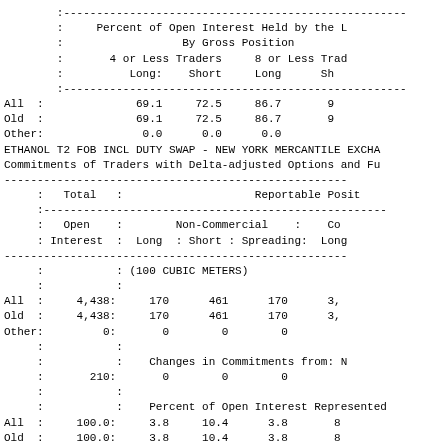|  | Percent of Open Interest Held by the |  |  |  |
| --- | --- | --- | --- | --- |
|  | By Gross Position |  |  |  |
|  | 4 or Less Traders |  | 8 or Less Tra |  |
|  | Long: | Short | Long | Sh |
| All : | 69.1 | 72.5 | 86.7 | 9 |
| Old : | 69.1 | 72.5 | 86.7 | 9 |
| Other: | 0.0 | 0.0 | 0.0 |  |
ETHANOL T2 FOB INCL DUTY SWAP - NEW YORK MERCANTILE EXCHA
Commitments of Traders with Delta-adjusted Options and Fu
|  | Total : |  |  | Reportable Posit |
| --- | --- | --- | --- | --- |
|  | Open : | Non-Commercial | : | Co |
|  | Interest : | Long : Short : Spreading: | Long |
|  |  | (100 CUBIC METERS) |  |  |
| All : | 4,438: | 170 | 461 | 170 | 3, |
| Old : | 4,438: | 170 | 461 | 170 | 3, |
| Other: | 0: | 0 | 0 | 0 |  |
|  |  | Changes in Commitments from: N |  |  |
|  | 210: | 0 | 0 | 0 |  |
|  |  | Percent of Open Interest Represented |  |  |
| All : | 100.0: | 3.8 | 10.4 | 3.8 | 8 |
| Old : | 100.0: | 3.8 | 10.4 | 3.8 | 8 |